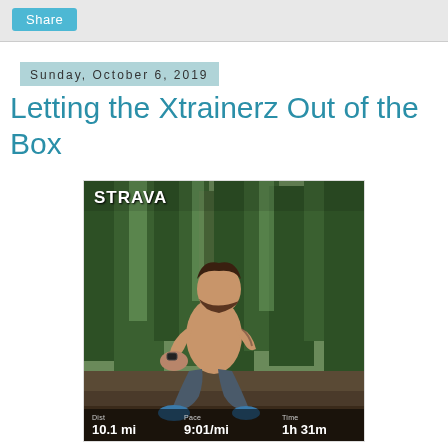Share
Sunday, October 6, 2019
Letting the Xtrainerz Out of the Box
[Figure (photo): Strava activity screenshot showing a shirtless man crouching in a forest setting. Stats overlay at bottom shows: Dist 10.1 mi, Pace 9:01/mi, Time 1h 31m. STRAVA logo visible in top left.]